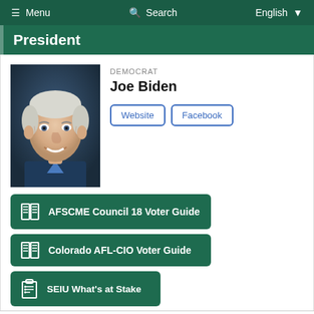≡ Menu   🔍 Search   English ▼
President
DEMOCRAT
Joe Biden
Website | Facebook
[Figure (photo): Portrait photo of Joe Biden, an older white man with white hair smiling, wearing a suit]
AFSCME Council 18 Voter Guide
Colorado AFL-CIO Voter Guide
SEIU What's at Stake
Joe Biden is one of the nation's most experienced public servants, having served as a U.S. senator from